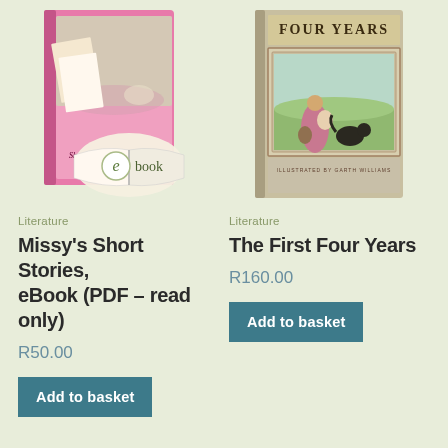[Figure (photo): Book cover of Missy's Short Stories and Poems, shown as an ebook with an open book with 'e book' overlay]
[Figure (photo): Book cover of The First Four Years, illustrated by Garth Williams, showing a woman and child with a dog outdoors]
Literature
Literature
Missy's Short Stories, eBook (PDF – read only)
The First Four Years
R50.00
R160.00
Add to basket
Add to basket